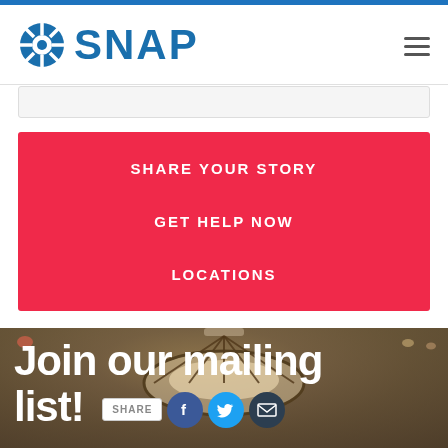SNAP
SHARE YOUR STORY
GET HELP NOW
LOCATIONS
Join our mailing list!
SHARE